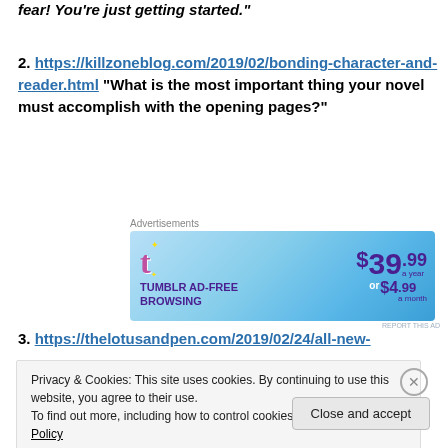fear! You’re just getting started.”
2. https://killzoneblog.com/2019/02/bonding-character-and-reader.html “What is the most important thing your novel must accomplish with the opening pages?”
[Figure (screenshot): Tumblr Ad-Free Browsing advertisement banner. $39.99 a year or $4.99 a month.]
3. https://thelotusandpen.com/2019/02/24/all-new-
Privacy & Cookies: This site uses cookies. By continuing to use this website, you agree to their use. To find out more, including how to control cookies, see here: Cookie Policy
Close and accept